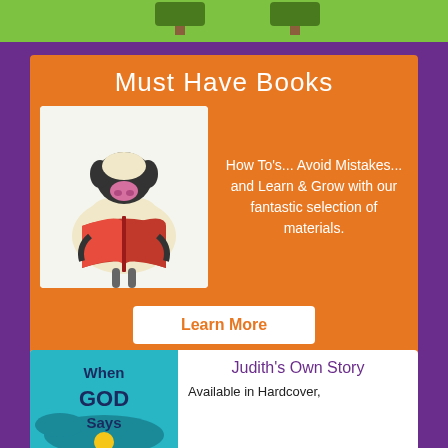[Figure (illustration): Top banner with trees on green background]
Must Have Books
[Figure (illustration): Cartoon sheep/cow reading an orange book]
How To's... Avoid Mistakes... and Learn & Grow with our fantastic selection of materials.
Learn More
[Figure (illustration): Book cover: When GOD Says]
Judith's Own Story
Available in Hardcover,